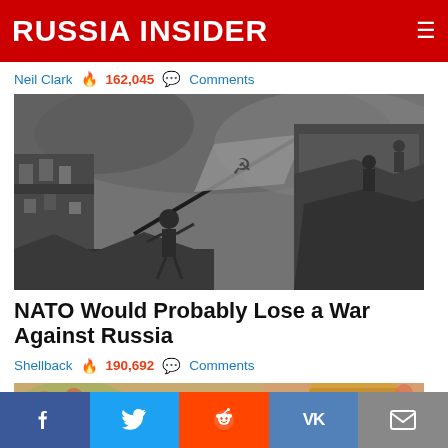RUSSIA INSIDER
Neil Clark 🔥 162,045 💬 Comments
[Figure (photo): Black and white historical war photograph showing Soviet soldiers raising a flag (with hammer and sickle) over a ruined city, Reichstag, Berlin, WWII]
NATO Would Probably Lose a War Against Russia
Shellback 🔥 190,692 💬 Comments
[Figure (photo): Partial view of a woman with light hair, colorful flowers in background]
Facebook | Twitter | Reddit | VK | Email